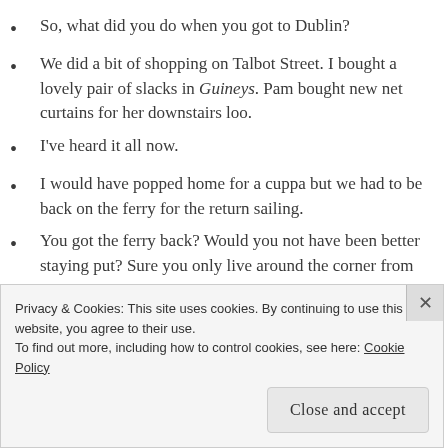So, what did you do when you got to Dublin?
We did a bit of shopping on Talbot Street. I bought a lovely pair of slacks in Guineys. Pam bought new net curtains for her downstairs loo.
I've heard it all now.
I would have popped home for a cuppa but we had to be back on the ferry for the return sailing.
You got the ferry back? Would you not have been better staying put? Sure you only live around the corner from Guineys.
Don't be silly Bernie, we still had two days left of our holidays and our return ticket.
Privacy & Cookies: This site uses cookies. By continuing to use this website, you agree to their use.
To find out more, including how to control cookies, see here: Cookie Policy
Close and accept